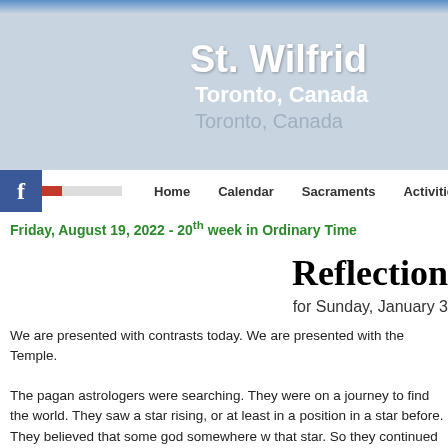St. Wilfrid, Toronto, Canada
Home | Calendar | Sacraments | Activities
Friday, August 19, 2022 - 20th week in Ordinary Time
Reflection
for Sunday, January 3
We are presented with contrasts today. We are presented with the Temple.
The pagan astrologers were searching. They were on a journey to find the world. They saw a star rising, or at least in a position in a star before. They believed that some god somewhere w that star. So they continued the journey of their lives by fo traveled. When they first arrived in Jerusalem, thy looked